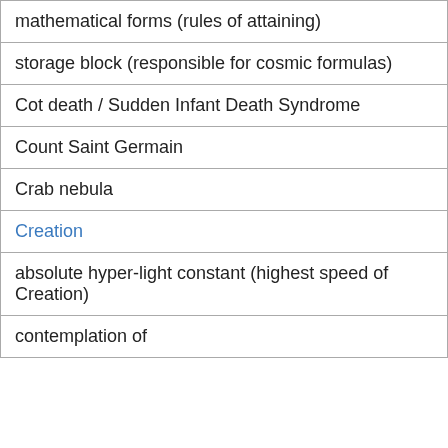| mathematical forms (rules of attaining) |
| storage block (responsible for cosmic formulas) |
| Cot death / Sudden Infant Death Syndrome |
| Count Saint Germain |
| Crab nebula |
| Creation |
| absolute hyper-light constant (highest speed of Creation) |
| contemplation of |